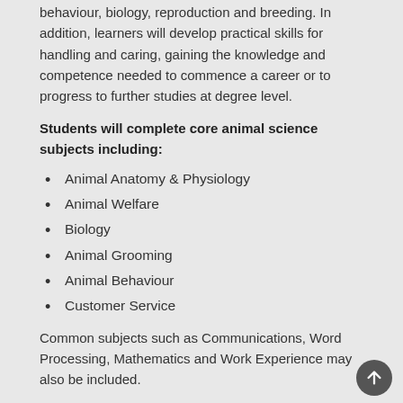behaviour, biology, reproduction and breeding. In addition, learners will develop practical skills for handling and caring, gaining the knowledge and competence needed to commence a career or to progress to further studies at degree level.
Students will complete core animal science subjects including:
Animal Anatomy & Physiology
Animal Welfare
Biology
Animal Grooming
Animal Behaviour
Customer Service
Common subjects such as Communications, Word Processing, Mathematics and Work Experience may also be included.